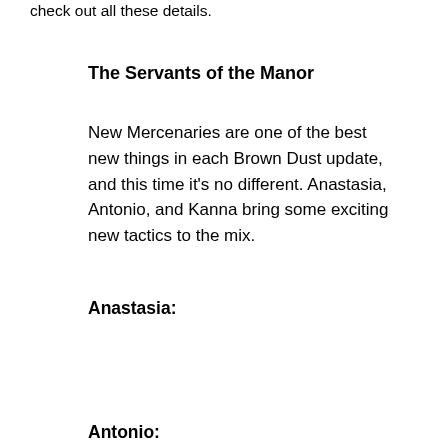check out all these details.
The Servants of the Manor
New Mercenaries are one of the best new things in each Brown Dust update, and this time it's no different. Anastasia, Antonio, and Kanna bring some exciting new tactics to the mix.
Anastasia:
Antonio: